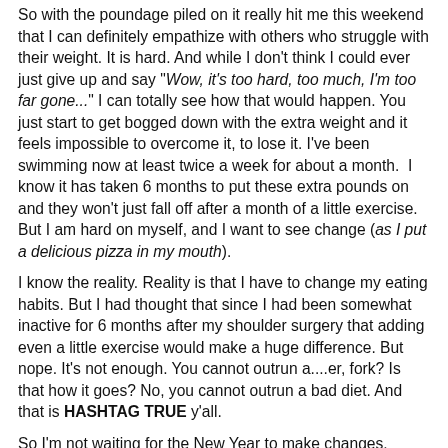So with the poundage piled on it really hit me this weekend that I can definitely empathize with others who struggle with their weight. It is hard. And while I don't think I could ever just give up and say "Wow, it's too hard, too much, I'm too far gone..." I can totally see how that would happen. You just start to get bogged down with the extra weight and it feels impossible to overcome it, to lose it. I've been swimming now at least twice a week for about a month.  I know it has taken 6 months to put these extra pounds on and they won't just fall off after a month of a little exercise. But I am hard on myself, and I want to see change (as I put a delicious pizza in my mouth).
I know the reality. Reality is that I have to change my eating habits. But I had thought that since I had been somewhat inactive for 6 months after my shoulder surgery that adding even a little exercise would make a huge difference. But nope. It's not enough. You cannot outrun a....er, fork? Is that how it goes? No, you cannot outrun a bad diet. And that is HASHTAG TRUE y'all.
So I'm not waiting for the New Year to make changes.